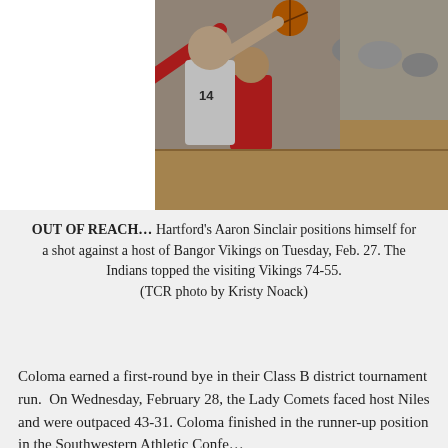[Figure (photo): Basketball game action photo showing Hartford player Aaron Sinclair (wearing white, number 14) reaching for a shot against Bangor Vikings (wearing red jerseys, numbers 22 and 2) with crowd in background]
OUT OF REACH… Hartford's Aaron Sinclair positions himself for a shot against a host of Bangor Vikings on Tuesday, Feb. 27. The Indians topped the visiting Vikings 74-55.
(TCR photo by Kristy Noack)
Coloma earned a first-round bye in their Class B district tournament run.  On Wednesday, February 28, the Lady Comets faced host Niles and were outpaced 43-31. Coloma finished in the runner-up position in the Southwestern Athletic Conference…